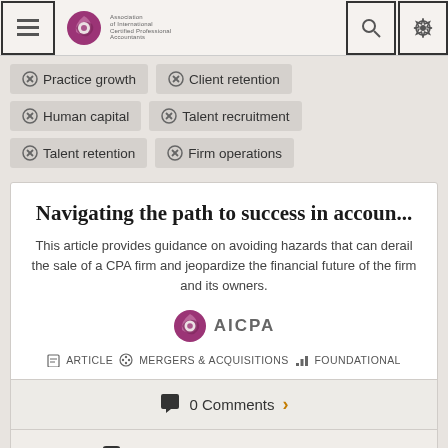[Figure (screenshot): Top navigation bar with hamburger menu, AICPA logo, search and settings icons]
⊗ Practice growth
⊗ Client retention
⊗ Human capital
⊗ Talent recruitment
⊗ Talent retention
⊗ Firm operations
Navigating the path to success in accoun...
This article provides guidance on avoiding hazards that can derail the sale of a CPA firm and jeopardize the financial future of the firm and its owners.
AICPA
ARTICLE   MERGERS & ACQUISITIONS   FOUNDATIONAL
0 Comments
Log in to save to My Learning